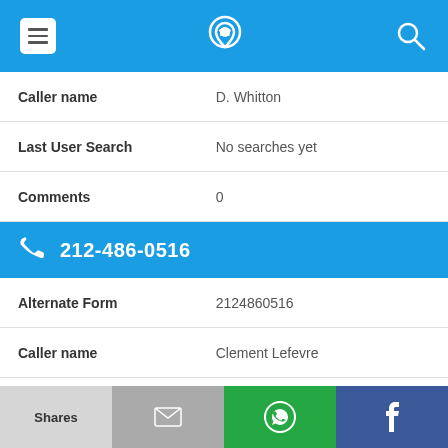Navigation bar with menu, phone/location icon, and search icon
| Field | Value |
| --- | --- |
| Caller name | D. Whitton |
| Last User Search | No searches yet |
| Comments | 0 |
212-486-0516
| Field | Value |
| --- | --- |
| Alternate Form | 2124860516 |
| Caller name | Clement Lefevre |
| Last User Search | No searches yet |
Shares | [email icon] | [WhatsApp icon] | [Facebook icon]